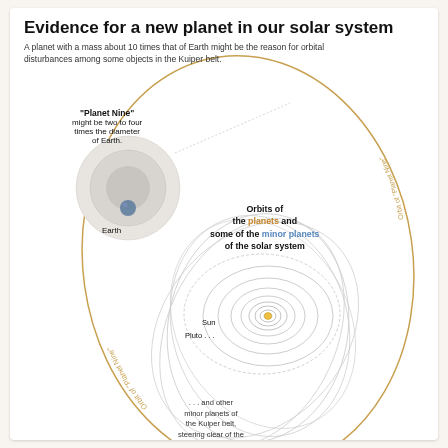Evidence for a new planet in our solar system
A planet with a mass about 10 times that of Earth might be the reason for orbital disturbances among some objects in the Kuiper belt.
[Figure (infographic): Diagram showing the orbit of 'Planet Nine' as a large ellipse, with inner solar system orbits shown as tight circles near center. An inset shows size comparison of Planet Nine vs Earth. Labels include 'Planet Nine', 'Orbit of Planet Nine', 'Orbits of the planets and some of the minor planets of the solar system', 'Sun', 'Pluto', and '...and other minor planets of the Kuiper belt, steering clear of the...']